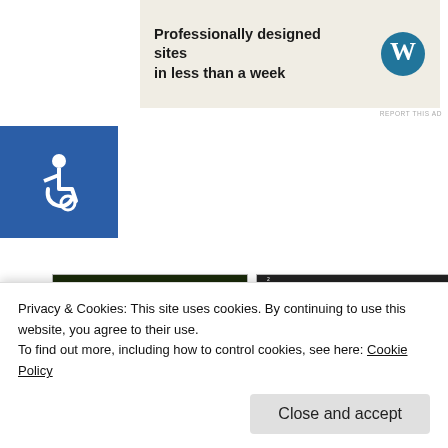[Figure (screenshot): WordPress advertisement banner: 'Professionally designed sites in less than a week' with WordPress logo on right, on a beige background]
REPORT THIS AD
[Figure (illustration): Blue accessibility icon button showing wheelchair symbol in white]
[Figure (illustration): Dick Tracy comic book cover - animated style with characters in yellow suit, 'DICK TRACY' text in yellow at bottom]
[Figure (illustration): Dick Tracy comic book issue 2 - black and white artwork showing 'DICK TRACY' title at top]
[Figure (illustration): Dick Tracy: Dead or Alive - colorful movie/comic poster with Dick Tracy in yellow hat and gun, red circular design]
[Figure (illustration): Partial thumbnail with small landscape image placeholder]
[Figure (screenshot): Partial comic strip thumbnails row 2 - four partially visible thumbnails]
Privacy & Cookies: This site uses cookies. By continuing to use this website, you agree to their use.
To find out more, including how to control cookies, see here: Cookie Policy
Close and accept